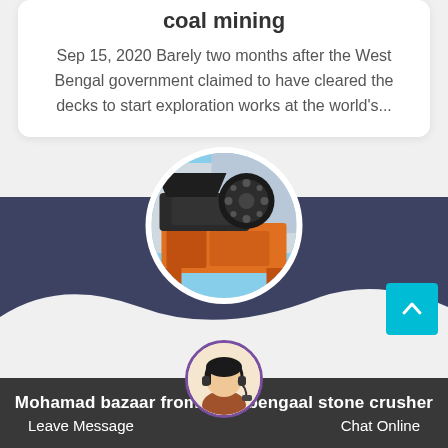coal mining
Sep 15, 2020 Barely two months after the West Bengal government claimed to have cleared the decks to start exploration works at the world's...
[Figure (photo): Circular image of heavy industrial/mining machinery (jaw crusher) with orange and dark metal components, on white circle with border]
[Figure (photo): Chat support avatar - woman with headset, partially visible, in circular frame with purple border]
Mohamad bazaar from west bengaal stone crusher
Leave Message   Chat Online